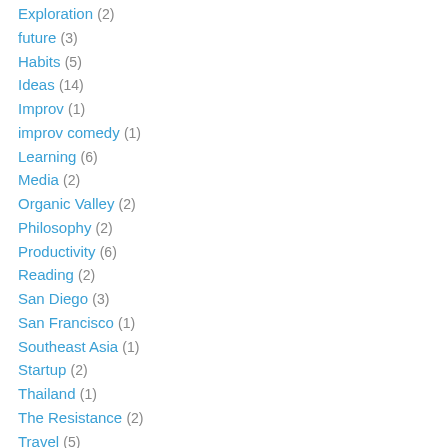Exploration (2)
future (3)
Habits (5)
Ideas (14)
Improv (1)
improv comedy (1)
Learning (6)
Media (2)
Organic Valley (2)
Philosophy (2)
Productivity (6)
Reading (2)
San Diego (3)
San Francisco (1)
Southeast Asia (1)
Startup (2)
Thailand (1)
The Resistance (2)
Travel (5)
Uncategorized (13)